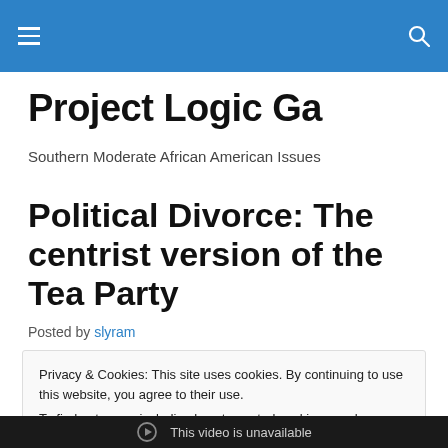Project Logic Ga — navigation header bar
Project Logic Ga
Southern Moderate African American Issues
Political Divorce: The centrist version of the Tea Party
Posted by slyram
Privacy & Cookies: This site uses cookies. By continuing to use this website, you agree to their use.
To find out more, including how to control cookies, see here: Cookie Policy
Close and accept
[Figure (screenshot): Video player showing 'This video is unavailable' message on dark background]